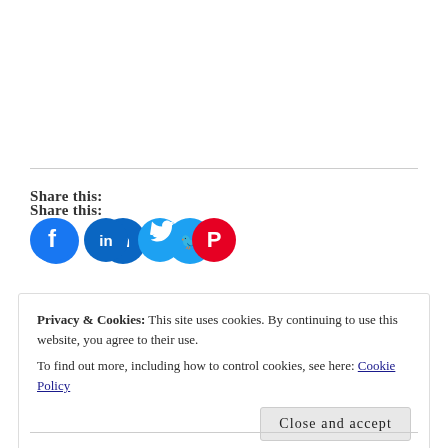Share this:
[Figure (infographic): Four social media share icons in circles: Facebook (blue), LinkedIn (blue), Twitter (light blue), Pinterest (red)]
Privacy & Cookies: This site uses cookies. By continuing to use this website, you agree to their use.
To find out more, including how to control cookies, see here: Cookie Policy
Close and accept